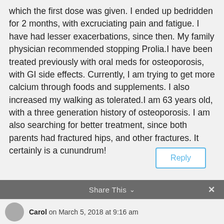which the first dose was given. I ended up bedridden for 2 months, with excruciating pain and fatigue. I have had lesser exacerbations, since then. My family physician recommended stopping Prolia.I have been treated previously with oral meds for osteoporosis, with GI side effects. Currently, I am trying to get more calcium through foods and supplements. I also increased my walking as tolerated.I am 63 years old, with a three generation history of osteoporosis. I am also searching for better treatment, since both parents had fractured hips, and other fractures. It certainly is a cunundrum!
Reply
Share This
Carol on March 5, 2018 at 9:16 am